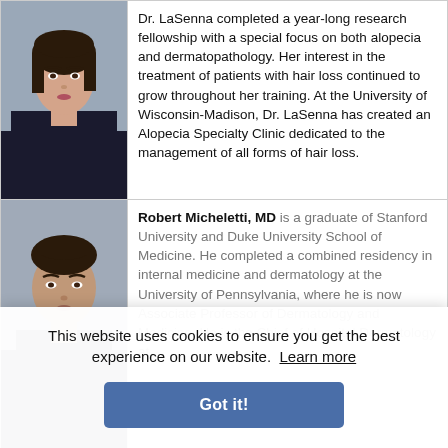[Figure (photo): Headshot of a woman with dark hair, wearing a black jacket, against a gray background]
Dr. LaSenna completed a year-long research fellowship with a special focus on both alopecia and dermatopathology. Her interest in the treatment of patients with hair loss continued to grow throughout her training. At the University of Wisconsin-Madison, Dr. LaSenna has created an Alopecia Specialty Clinic dedicated to the management of all forms of hair loss.
[Figure (photo): Headshot of a man, partially obscured by cookie consent overlay]
Robert Micheletti, MD is a graduate of Stanford University and Duke University School of Medicine. He completed a combined residency in internal medicine and dermatology at the University of Pennsylvania, where he is now Associate Professor of Dermatology and Medicine. He is the Chief of Hospital Dermatology at
This website uses cookies to ensure you get the best experience on our website. Learn more
Got it!